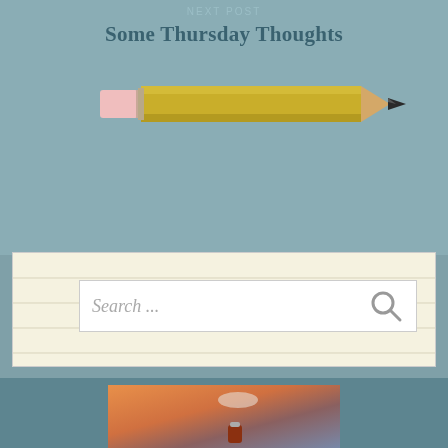Next Post
Some Thursday Thoughts
[Figure (illustration): Yellow pencil illustration with pink eraser on left and dark pencil tip on right]
[Figure (screenshot): Lined notepad widget with a search box containing 'Search ...' placeholder text and a magnifying glass icon]
[Figure (photo): Photo of a child in a white dress holding a red lantern in a field at golden hour/sunset]